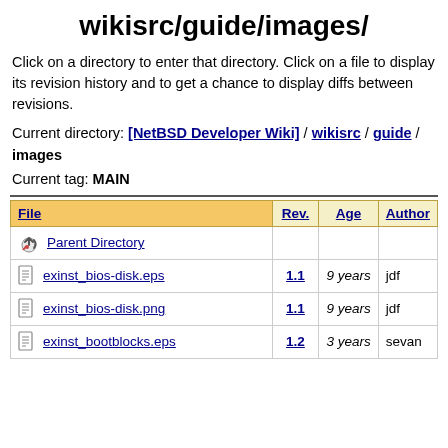wikisrc/guide/images/
Click on a directory to enter that directory. Click on a file to display its revision history and to get a chance to display diffs between revisions.
Current directory: [NetBSD Developer Wiki] / wikisrc / guide / images
Current tag: MAIN
| File | Rev. | Age | Author |
| --- | --- | --- | --- |
| Parent Directory |  |  |  |
| exinst_bios-disk.eps | 1.1 | 9 years | jdf |
| exinst_bios-disk.png | 1.1 | 9 years | jdf |
| exinst_bootblocks.eps | 1.2 | 3 years | sevan |